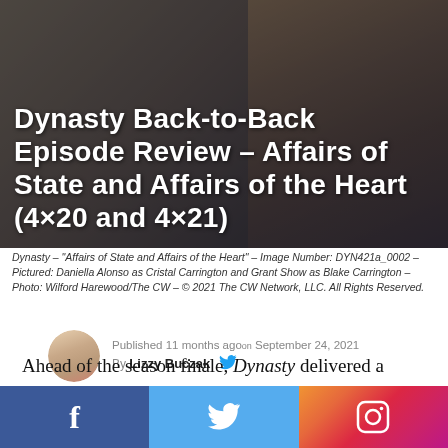[Figure (photo): Dark background image with a person in a suit, overlaid with white bold title text about Dynasty episode review.]
Dynasty Back-to-Back Episode Review – Affairs of State and Affairs of the Heart (4×20 and 4×21)
Dynasty – "Affairs of State and Affairs of the Heart" – Image Number: DYN421a_0002 – Pictured: Daniella Alonso as Cristal Carrington and Grant Show as Blake Carrington – Photo: Wilford Harewood/The CW – © 2021 The CW Network, LLC. All Rights Reserved.
Published 11 months agoon September 24, 2021
By Lizzy Buczak
Ahead of the season finale, Dynasty delivered a supersized penultimate episode.
[Figure (illustration): Social media share icons footer bar: Facebook (f), Twitter (bird), Instagram (camera)]